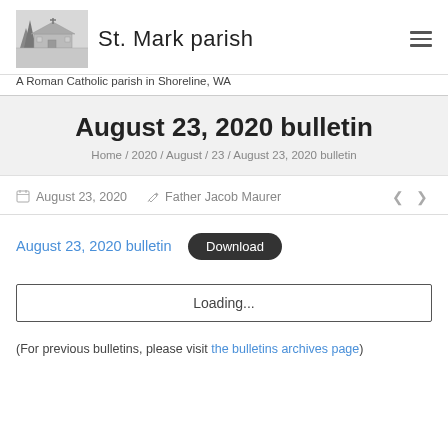St. Mark parish — A Roman Catholic parish in Shoreline, WA
August 23, 2020 bulletin
Home / 2020 / August / 23 / August 23, 2020 bulletin
August 23, 2020   Father Jacob Maurer
August 23, 2020 bulletin  Download
Loading...
(For previous bulletins, please visit the bulletins archives page)